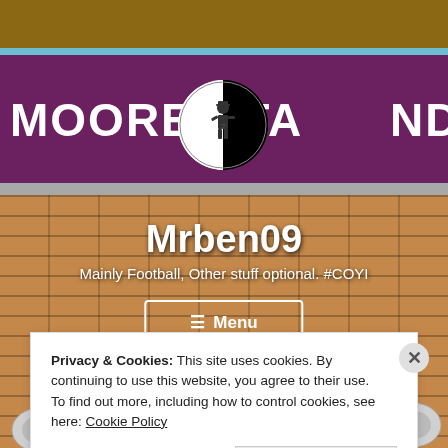[Figure (photo): Background photograph of a football stadium exterior. A purple/maroon sign reads 'MOORE STAND UPPER' in large white bold letters. A ska/2-Tone style circular logo (black and white checkerboard half) with a figure in a suit is visible. Brick wall below with two megaphone loudspeakers mounted on either side.]
Mrben09
Mainly Football, Other stuff optional. #COYI
≡ Menu
Privacy & Cookies: This site uses cookies. By continuing to use this website, you agree to their use.
To find out more, including how to control cookies, see here: Cookie Policy
Close and accept